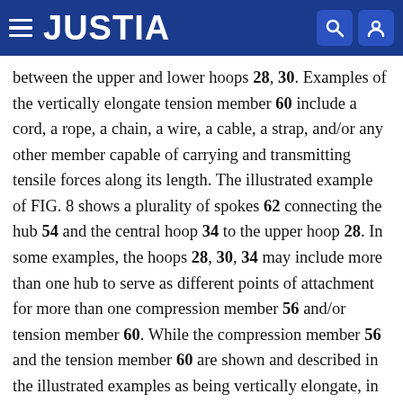JUSTIA
between the upper and lower hoops 28, 30. Examples of the vertically elongate tension member 60 include a cord, a rope, a chain, a wire, a cable, a strap, and/or any other member capable of carrying and transmitting tensile forces along its length. The illustrated example of FIG. 8 shows a plurality of spokes 62 connecting the hub 54 and the central hoop 34 to the upper hoop 28. In some examples, the hoops 28, 30, 34 may include more than one hub to serve as different points of attachment for more than one compression member 56 and/or tension member 60. While the compression member 56 and the tension member 60 are shown and described in the illustrated examples as being vertically elongate, in some examples, the compression member 56 and/or the tension member 60 may be elongate in a non-vertical direction. For example, the compression member 56 and/or the tension member 60 may connect